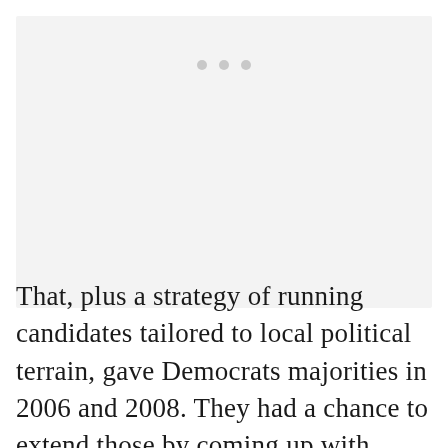[Figure (other): A light gray placeholder image area with three small gray dots at the top center, indicating a loading or placeholder state.]
That, plus a strategy of running candidates tailored to local political terrain, gave Democrats majorities in 2006 and 2008. They had a chance to extend those by coming up with policies generally deemed successful and which held their disparate coalition together.